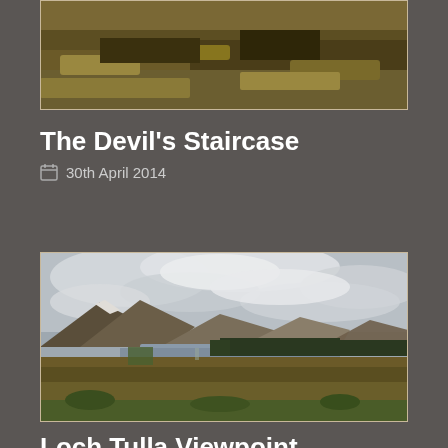[Figure (photo): Partial view of a moorland/hillside landscape photo, cut off at top of page showing brown grassy terrain]
The Devil's Staircase
30th April 2014
[Figure (photo): Landscape photograph of Loch Tulla with mountains in background under dramatic cloudy sky, brown moorland in foreground, conifer trees along loch edge]
Loch Tulla Viewpoint